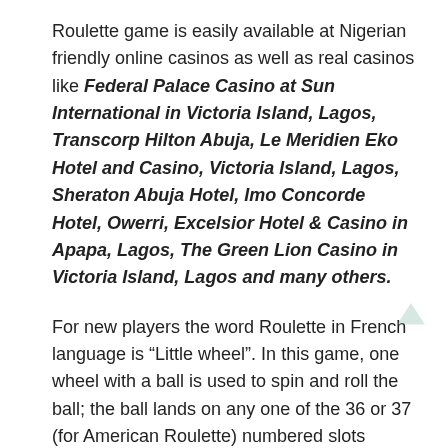Roulette game is easily available at Nigerian friendly online casinos as well as real casinos like Federal Palace Casino at Sun International in Victoria Island, Lagos, Transcorp Hilton Abuja, Le Meridien Eko Hotel and Casino, Victoria Island, Lagos, Sheraton Abuja Hotel, Imo Concorde Hotel, Owerri, Excelsior Hotel & Casino in Apapa, Lagos, The Green Lion Casino in Victoria Island, Lagos and many others.
For new players the word Roulette in French language is “Little wheel”. In this game, one wheel with a ball is used to spin and roll the ball; the ball lands on any one of the 36 or 37 (for American Roulette) numbered slots imprinted on the wheel.
These slots are painted with red and black colors. The wheel of Roulette is operated by a dealer called